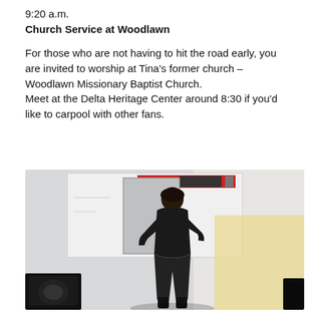9:20 a.m.
Church Service at Woodlawn
For those who are not having to hit the road early, you are invited to worship at Tina's former church – Woodlawn Missionary Baptist Church. Meet at the Delta Heritage Center around 8:30 if you'd like to carpool with other fans.
[Figure (photo): A person wearing a black outfit performing or moving energetically in front of a whiteboard in what appears to be a church or meeting hall, with a black speaker monitor on the left and another object on the right.]